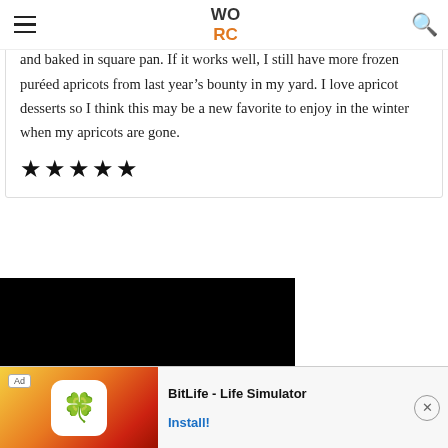WO RC
wasn't sure of amount of apricots so I slightly reduced crust recipe and baked in square pan. If it works well, I still have more frozen puréed apricots from last year's bounty in my yard. I love apricot desserts so I think this may be a new favorite to enjoy in the winter when my apricots are gone.
[Figure (other): Five filled black stars (star rating)]
[Figure (other): Black video player area]
[Figure (other): Ad banner: BitLife - Life Simulator mobile app advertisement with Install button]